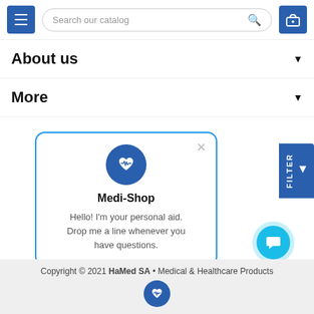[Figure (screenshot): Navigation bar with hamburger menu button, search box reading 'Search our catalog', and shopping cart button]
About us
More
[Figure (infographic): Chat popup box with Medi-Shop logo (heart with pulse icon), title 'Medi-Shop', and message 'Hello! I'm your personal aid. Drop me a line whenever you have questions.']
[Figure (other): Blue FILTER button on right side]
[Figure (other): Chat bubble button (blue circle with chat icon)]
Copyright © 2021 HaMed SA • Medical & Healthcare Products